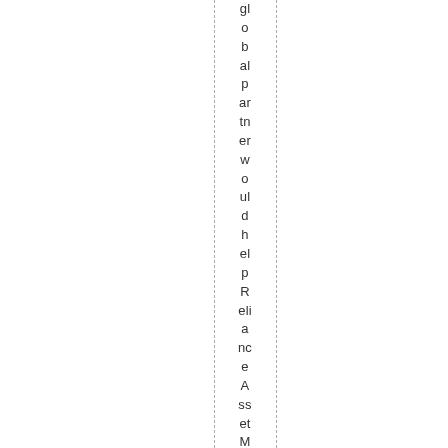global partner would help Reliance Asset Management